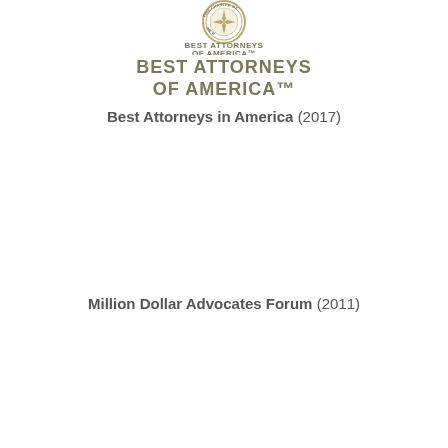[Figure (logo): Best Attorneys of America seal/logo with circular badge and text 'BEST ATTORNEYS OF AMERICA' in gold/olive color]
Best Attorneys in America (2017)
Million Dollar Advocates Forum (2011)